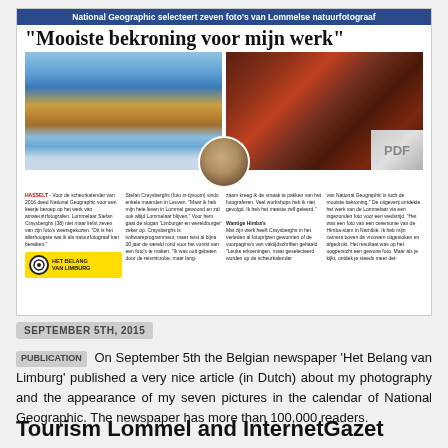[Figure (screenshot): Scanned newspaper article from Het Belang van Limburg with headline 'Mooiste bekroning voor mijn werk', two photos (mountain landscape and tribal people), headshot of photographer Stefan Craysberghs, and newspaper logo. PDF watermark in bottom-right corner.]
SEPTEMBER 5TH, 2015
PUBLICATION On September 5th the Belgian newspaper 'Het Belang van Limburg' published a very nice article (in Dutch) about my photography and the appearance of my seven pictures in the calendar of National Geographic. The newspaper has more than 100,000 readers.
Tourism Lommel and InternetGazet